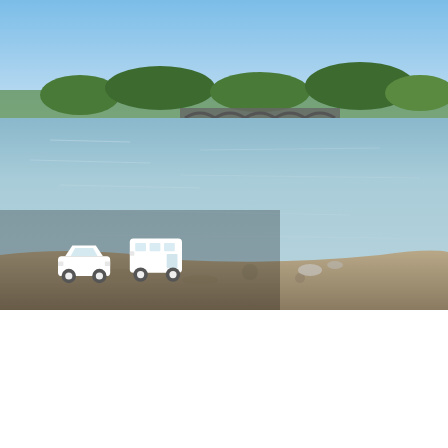[Figure (photo): Scenic photo of a calm river or lake with a bridge in the background, trees on the far shore, blue sky, and rocky foreground. Two vehicle icons (car and bus) appear in the lower-left of the photo area, overlaid in white.]
5.5 km One way
2 hrs 30 mins
[Figure (donut-chart): Donut chart showing difficulty rating 3 out of 5. About 60% arc in blue, remainder in light grey. Number 3 in the center.]
Moderate track